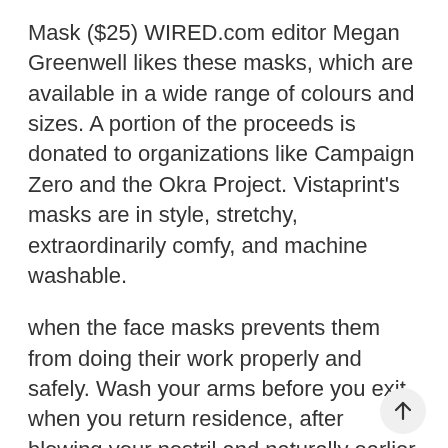Mask ($25) WIRED.com editor Megan Greenwell likes these masks, which are available in a wide range of colours and sizes. A portion of the proceeds is donated to organizations like Campaign Zero and the Okra Project. Vistaprint's masks are in style, stretchy, extraordinarily comfy, and machine washable.
when the face masks prevents them from doing their work properly and safely. Wash your arms before you exit, when you return residence, after blowing your nostril and naturally earlier than meals and after going to the bathroom. These restrictions don't apply to visits by medical professionals, carers or casual carers. You should only go to your place of work if your